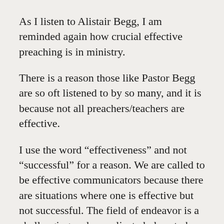As I listen to Alistair Begg, I am reminded again how crucial effective preaching is in ministry.
There is a reason those like Pastor Begg are so oft listened to by so many, and it is because not all preachers/teachers are effective.
I use the word “effectiveness” and not “successful” for a reason.  We are called to be effective communicators because there are situations where one is effective but not successful.  The field of endeavor is a challenging and complicated place to be successful–  if “successful” means having a meaningful impact.  There were situations